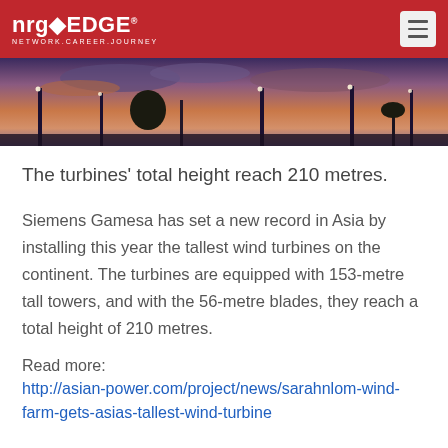nrgEDGE — NETWORK.CAREER.JOURNEY
[Figure (photo): Sunset/dusk photo of wind turbine towers silhouetted against an orange and purple sky with clouds and palm trees]
The turbines' total height reach 210 metres.
Siemens Gamesa has set a new record in Asia by installing this year the tallest wind turbines on the continent. The turbines are equipped with 153-metre tall towers, and with the 56-metre blades, they reach a total height of 210 metres.
Read more:
http://asian-power.com/project/news/sarahnlom-wind-farm-gets-asias-tallest-wind-turbine